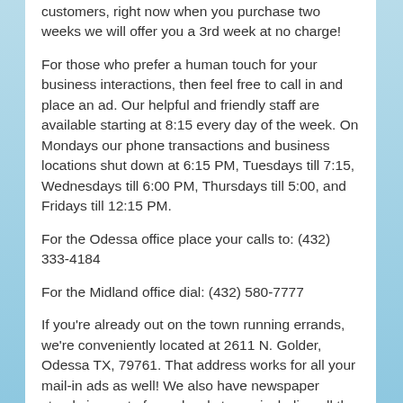customers, right now when you purchase two weeks we will offer you a 3rd week at no charge!
For those who prefer a human touch for your business interactions, then feel free to call in and place an ad. Our helpful and friendly staff are available starting at 8:15 every day of the week. On Mondays our phone transactions and business locations shut down at 6:15 PM, Tuesdays till 7:15, Wednesdays till 6:00 PM, Thursdays till 5:00, and Fridays till 12:15 PM.
For the Odessa office place your calls to: (432) 333-4184
For the Midland office dial: (432) 580-7777
If you're already out on the town running errands, we're conveniently located at 2611 N. Golder, Odessa TX, 79761. That address works for all your mail-in ads as well! We also have newspaper stands in most of your local stores, including all the 7-11's in Odessa and Midland! If we don't have a stand in your favorite store, call us and we'll get one there, just for you!